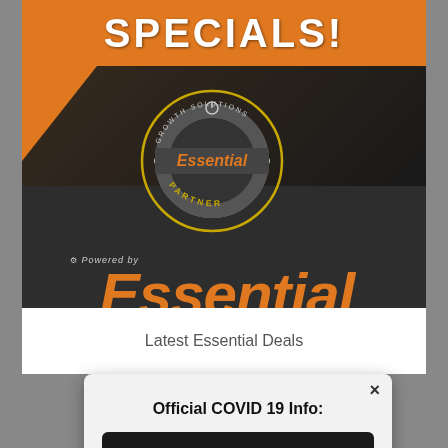[Figure (logo): Orange SPECIALS! banner at top with dark background showing Essential Growth Solutions Partner badge logo and Essential National Buying Group logo in orange italic text with yellow BUYING GROUP text]
Latest Essential Deals
Official COVID 19 Info:
Click here